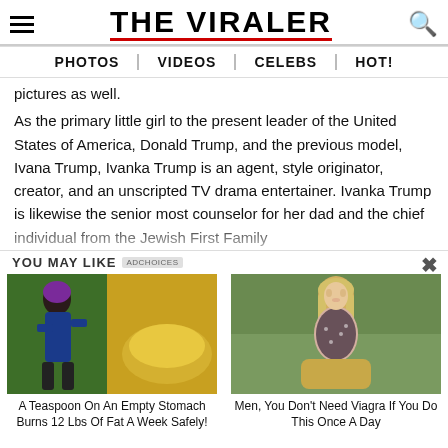THE VIRALER
PHOTOS | VIDEOS | CELEBS | HOT!
pictures as well.
As the primary little girl to the present leader of the United States of America, Donald Trump, and the previous model, Ivana Trump, Ivanka Trump is an agent, style originator, creator, and an unscripted TV drama entertainer. Ivanka Trump is likewise the senior most counselor for her dad and the chief individual from the Jewish First Family
YOU MAY LIKE
[Figure (photo): Fitness woman running next to golden powder - advertisement for weight loss supplement]
A Teaspoon On An Empty Stomach Burns 12 Lbs Of Fat A Week Safely!
[Figure (photo): Blonde woman sitting outdoors - advertisement]
Men, You Don't Need Viagra If You Do This Once A Day